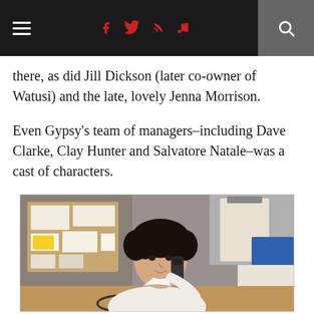Navigation bar with hamburger menu, social icons (facebook, twitter, rss, music note), and search
there, as did Jill Dickson (later co-owner of Watusi) and the late, lovely Jenna Morrison.
Even Gypsy's team of managers–including Dave Clarke, Clay Hunter and Salvatore Natale–was a cast of characters.
[Figure (photo): A young man with curly dark hair talking on a telephone, sitting at a desk with papers, clipboards and a bulletin board visible in the background]